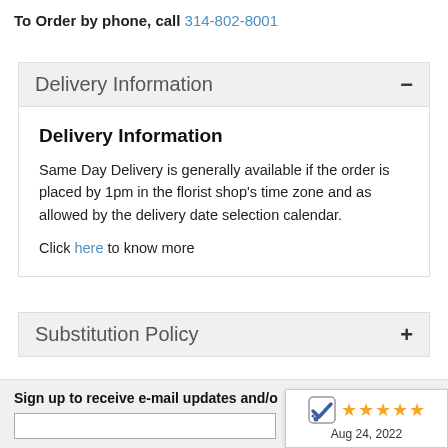To Order by phone, call 314-802-8001
Delivery Information
Delivery Information
Same Day Delivery is generally available if the order is placed by 1pm in the florist shop's time zone and as allowed by the delivery date selection calendar.
Click here to know more
Substitution Policy
Sign up to receive e-mail updates and/o
[Figure (other): 5-star rating badge with checkmark logo and date Aug 24, 2022]